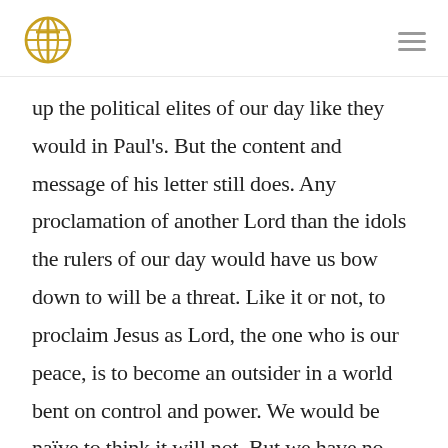[Logo: globe with cross] [Hamburger menu icon]
up the political elites of our day like they would in Paul's. But the content and message of his letter still does. Any proclamation of another Lord than the idols the rulers of our day would have us bow down to will be a threat. Like it or not, to proclaim Jesus as Lord, the one who is our peace, is to become an outsider in a world bent on control and power. We would be naïve to think it will not. But we have no control over how the world and its self-appointed leaders will